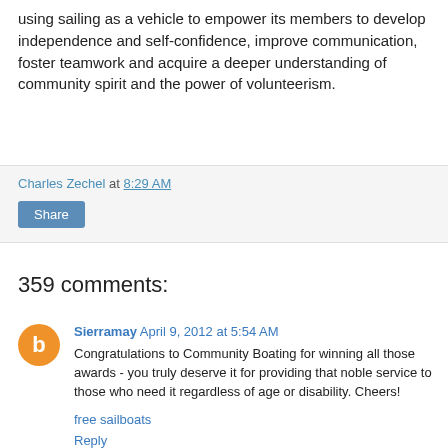using sailing as a vehicle to empower its members to develop independence and self-confidence, improve communication, foster teamwork and acquire a deeper understanding of community spirit and the power of volunteerism.
Charles Zechel at 8:29 AM
Share
359 comments:
Sierramay April 9, 2012 at 5:54 AM
Congratulations to Community Boating for winning all those awards - you truly deserve it for providing that noble service to those who need it regardless of age or disability. Cheers!
free sailboats
Reply